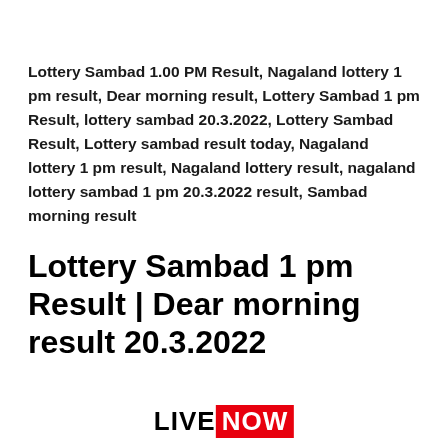Lottery Sambad 1.00 PM Result, Nagaland lottery 1 pm result, Dear morning result, Lottery Sambad 1 pm Result, lottery sambad 20.3.2022, Lottery Sambad Result, Lottery sambad result today, Nagaland lottery 1 pm result, Nagaland lottery result, nagaland lottery sambad 1 pm 20.3.2022 result, Sambad morning result
Lottery Sambad 1 pm Result | Dear morning result 20.3.2022
[Figure (other): LIVE NOW banner with black LIVE text and red NOW badge]